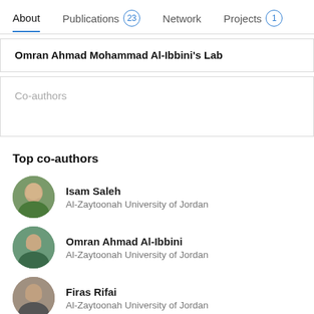About | Publications 23 | Network | Projects 1
Omran Ahmad Mohammad Al-Ibbini's Lab
Co-authors
Top co-authors
Isam Saleh — Al-Zaytoonah University of Jordan
Omran Ahmad Al-Ibbini — Al-Zaytoonah University of Jordan
Firas Rifai — Al-Zaytoonah University of Jordan
Mohammad Al Attar — Al-Zaytoonah University of Jordan